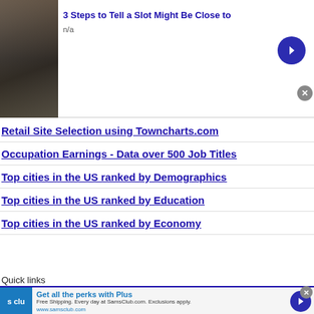[Figure (screenshot): Advertisement banner showing a slot machine image with text '3 Steps to Tell a Slot Might Be Close to' and 'n/a', with a blue circular arrow button and a gray close button]
Retail Site Selection using Towncharts.com
Occupation Earnings - Data over 500 Job Titles
Top cities in the US ranked by Demographics
Top cities in the US ranked by Education
Top cities in the US ranked by Economy
Quick links
[Figure (screenshot): Advertisement banner for Sam's Club Plus with logo, text 'Get all the perks with Plus', 'Free Shipping. Every day at SamsClub.com. Exclusions apply.', 'www.samsclub.com', blue circular arrow button and gray close button]